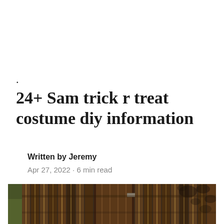.
24+ Sam trick r treat costume diy information
Written by Jeremy
Apr 27, 2022 · 6 min read
[Figure (photo): A wooden fence photographed up close, showing vertical wooden planks with shadows from tree leaves cast across the surface. The image is in warm, slightly desaturated tones.]